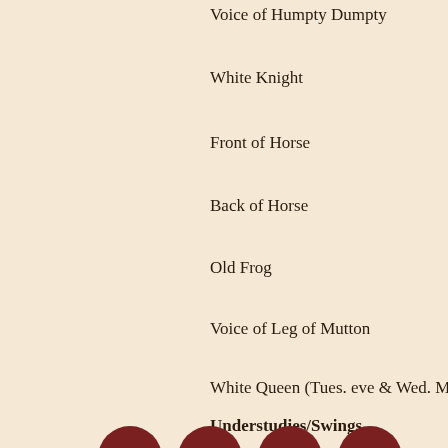Voice of Humpty Dumpty
White Knight
Front of Horse
Back of Horse
Old Frog
Voice of Leg of Mutton
White Queen (Tues. eve & Wed. M…
Understudies/Swings
For: Miss Burton
For: Eva Le Gallienne